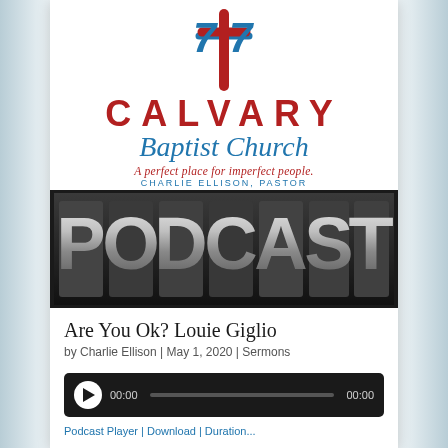[Figure (logo): Calvary Baptist Church logo with cross graphic in red and blue, text CALVARY in bold red, Baptist Church in blue italic script, tagline 'A perfect place for imperfect people.' in red italic, and 'CHARLIE ELLISON, PASTOR' in blue caps]
[Figure (photo): Metallic letterpress blocks spelling PODCAST in large silver 3D letters on dark background]
Are You Ok? Louie Giglio
by Charlie Ellison | May 1, 2020 | Sermons
[Figure (screenshot): Audio player widget with dark background, play button, time display 00:00, progress bar, and end time 00:00]
Podcast Player | Download | Duration...